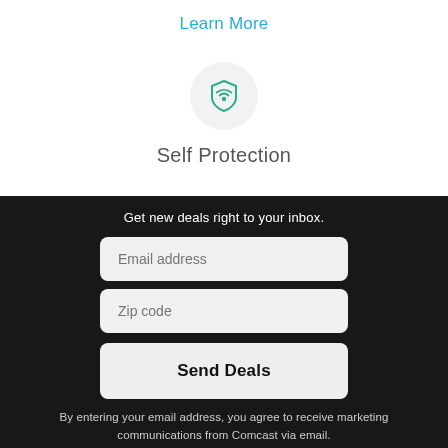Learn More
[Figure (illustration): Circular icon with a shield containing a wifi symbol, in teal/green color on a light gray circle background]
Self Protection
Get new deals right to your inbox.
Email address
Zip code
Send Deals
By entering your email address, you agree to receive marketing communications from Comcast via email.